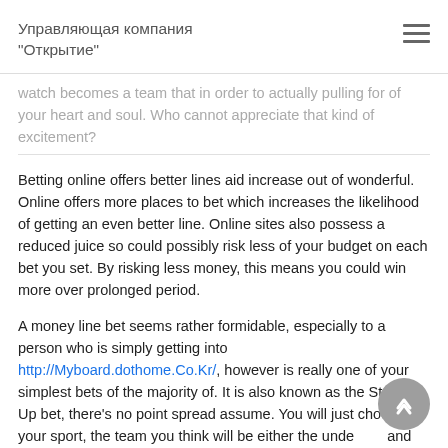Управляющая компания "Открытие"
watch becomes a team that in order to actually pulling for of your heart and soul. Who cannot appreciate that kind of excitement?
Betting online offers better lines aid increase out of wonderful. Online offers more places to bet which increases the likelihood of getting an even better line. Online sites also possess a reduced juice so could possibly risk less of your budget on each bet you set. By risking less money, this means you could win more over prolonged period.
A money line bet seems rather formidable, especially to a person who is simply getting into http://Myboard.dothome.Co.Kr/, however is really one of your simplest bets of the majority of. It is also known as the Straight Up bet, there's no point spread assume. You will just choose your sport, the team you think will be either the underdog and also favourite. Within a money line bet, the sports book will